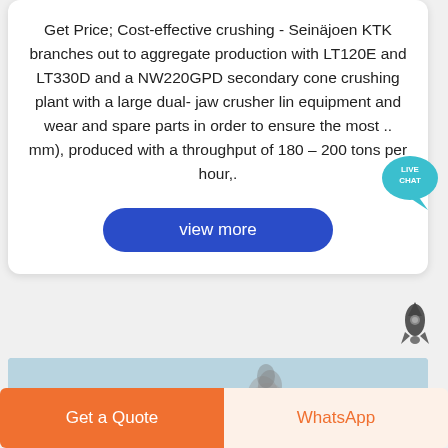Get Price; Cost-effective crushing - Seinäjoen KTK branches out to aggregate production with LT120E and LT330D and a NW220GPD secondary cone crushing plant with a large dual- jaw crusher lin equipment and wear and spare parts in order to ensure the most .. mm), produced with a throughput of 180 – 200 tons per hour,.
[Figure (other): Live Chat bubble icon — teal speech bubble with white text 'LIVE CHAT']
[Figure (other): Blue 'view more' button with rounded corners]
[Figure (other): Dark rocket ship icon]
[Figure (photo): Outdoor landscape photo showing mountains, blue sky, smoke or dust plume rising from valley, person silhouette in lower left]
Get a Quote
WhatsApp